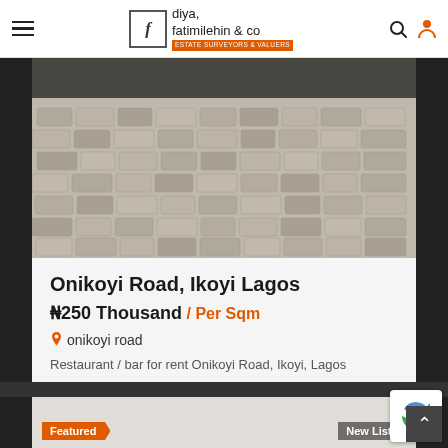diya, fatimilehin & co ESTATE SURVEYORS & VALUERS
[Figure (photo): Aerial/close-up photo of cobblestone paving on Onikoyi Road, Ikoyi, Lagos]
Onikoyi Road, Ikoyi Lagos
₦250 Thousand / Per Sqm
onikoyi road
Restaurant / bar for rent Onikoyi Road, Ikoyi, Lagos
Details →
[Figure (photo): Featured New Listing property card peeking at bottom of page]